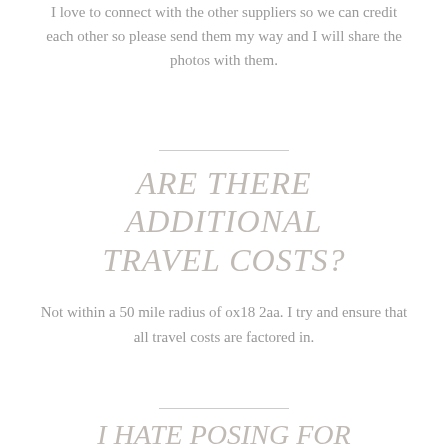I love to connect with the other suppliers so we can credit each other so please send them my way and I will share the photos with them.
ARE THERE ADDITIONAL TRAVEL COSTS?
Not within a 50 mile radius of ox18 2aa. I try and ensure that all travel costs are factored in.
I HATE POSING FOR PICTURES, WHAT WOULD YOU SUGGEST?
I hate posing too! Don't worry about this. I like to do some couple pictures with you, but I will not make you feel uncomfortable. I will work with you to have you